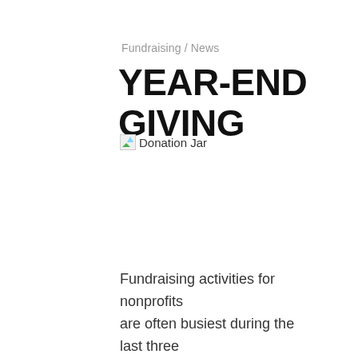Fundraising / News
YEAR-END GIVING
[Figure (photo): Broken image placeholder labeled 'Donation Jar']
Fundraising activities for nonprofits are often busiest during the last three